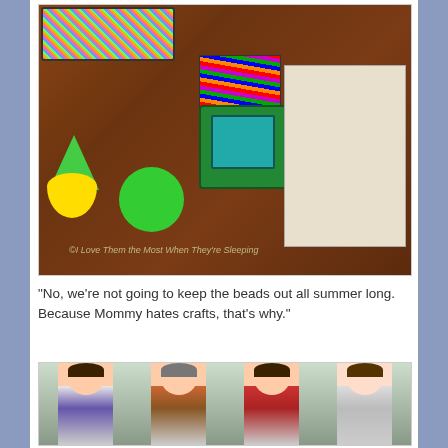[Figure (photo): Overhead view of a table covered with children's craft supplies: a colorful bead tray, a green plastic case with markers/crayons, a sketchbook with anime-style drawings, foam shapes (green bird, yellow flower), a green spinner, loose beads, and markers. Watermark reads: ©I Love Them the Most When They're Sleeping]
“No, we’re not going to keep the beads out all summer long. Because Mommy hates crafts, that’s why.”
[Figure (photo): Four boys posing together, smiling. One boy on the left is wearing a cape and tie. The second boy wears a grey hat. The third boy is laughing with hands on cheeks. The fourth boy on the right is smiling casually. They appear to be inside near a window.]